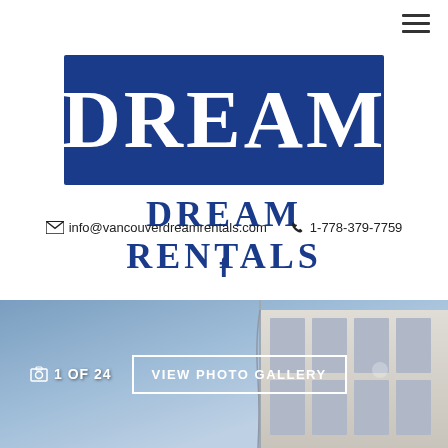[Figure (logo): Dream Rentals logo: dark blue box with white DREAM text, and DREAM RENTALS text below in dark blue]
✉ info@vancouverdreamrentals.com  ☎ 1-778-379-7759
f (Facebook icon)
[Figure (photo): Exterior building photo showing modern architecture against blue sky, with photo gallery controls overlay showing '1 OF 24' and 'VIEW PHOTO GALLERY' button]